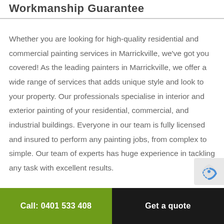Workmanship Guarantee
Whether you are looking for high-quality residential and commercial painting services in Marrickville, we've got you covered! As the leading painters in Marrickville, we offer a wide range of services that adds unique style and look to your property. Our professionals specialise in interior and exterior painting of your residential, commercial, and industrial buildings. Everyone in our team is fully licensed and insured to perform any painting jobs, from complex to simple. Our team of experts has huge experience in tackling any task with excellent results.
Call: 0401 533 408   Get a quote